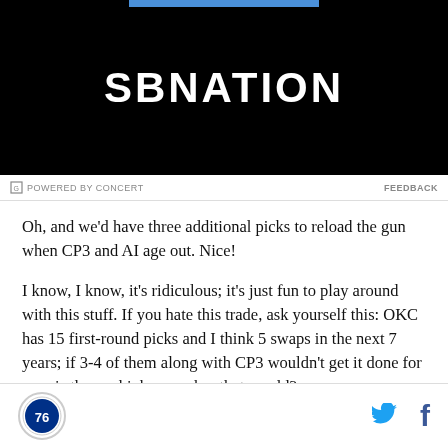[Figure (screenshot): SBNation advertisement banner with black background and white SBNATION logo text, blue bar at top]
POWERED BY CONCERT   FEEDBACK
Oh, and we'd have three additional picks to reload the gun when CP3 and AI age out. Nice!
I know, I know, it's ridiculous; it's just fun to play around with this stuff. If you hate this trade, ask yourself this: OKC has 15 first-round picks and I think 5 swaps in the next 7 years; if 3-4 of them along with CP3 wouldn't get it done for you, is there a higher number that would?
OK, now I really am going to assume we don't add a
Philadelphia 76ers logo | Twitter icon | Facebook icon